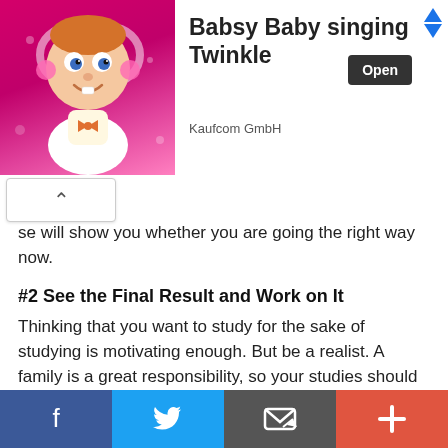[Figure (infographic): Advertisement banner: Babsy Baby singing Twinkle by Kaufcom GmbH, with cartoon baby image on pink background, Open button, and navigation arrows]
…se will show you whether you are going the right way now.
#2 See the Final Result and Work on It
Thinking that you want to study for the sake of studying is motivating enough. But be a realist. A family is a great responsibility, so your studies should be aimed at something. Otherwise, it's not worth compromising your relationship. For example, if you want to run your own business after graduation or find a job after your own heart, start to work on it now. Get all the knowledge and skills you need for it and pay less attention to those that are not necessary.
#3 Talk to Your S…
[Figure (infographic): Bottom social sharing bar with Facebook, Twitter, email/share, and plus buttons]